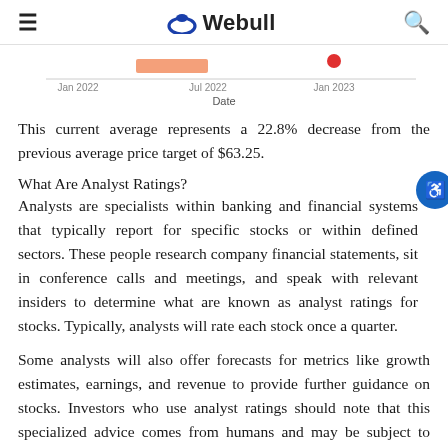≡  Webull  🔍
[Figure (continuous-plot): Partial view of a time-series chart showing dates Jan 2022, Jul 2022, Jan 2023 on x-axis with a salmon/orange colored bar segment and a red dot visible. X-axis label: Date.]
This current average represents a 22.8% decrease from the previous average price target of $63.25.
What Are Analyst Ratings?
Analysts are specialists within banking and financial systems that typically report for specific stocks or within defined sectors. These people research company financial statements, sit in conference calls and meetings, and speak with relevant insiders to determine what are known as analyst ratings for stocks. Typically, analysts will rate each stock once a quarter.
Some analysts will also offer forecasts for metrics like growth estimates, earnings, and revenue to provide further guidance on stocks. Investors who use analyst ratings should note that this specialized advice comes from humans and may be subject to error.